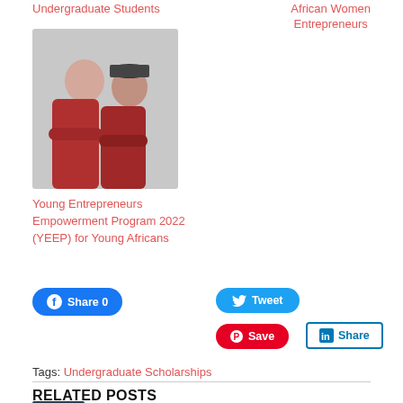Undergraduate Students
African Women Entrepreneurs
[Figure (photo): Two young people in matching dark red/maroon T-shirts, one male and one female wearing a cap]
Young Entrepreneurs Empowerment Program 2022 (YEEP) for Young Africans
Share 0
Tweet
Save
Share
Tags: Undergraduate Scholarships
RELATED POSTS
JAMII FEMMES PROGRAMME 2022 FOR